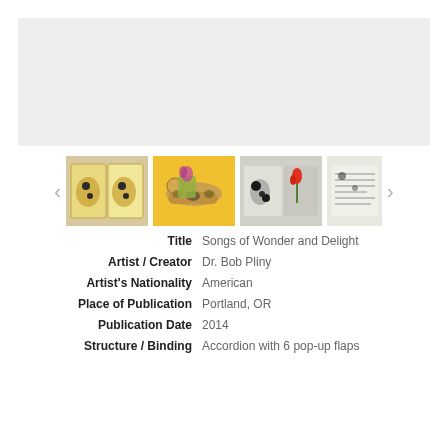[Figure (photo): Main image area showing artist book - large gray placeholder area at top]
[Figure (photo): Thumbnail gallery row showing 4 views of 'Songs of Wonder and Delight' artist book with pop-up flaps. Images show colorful accordion book with black spotted animal figures, yellow background, red tulips, and handwritten text.]
| Title | Songs of Wonder and Delight |
| Artist / Creator | Dr. Bob Pliny |
| Artist's Nationality | American |
| Place of Publication | Portland, OR |
| Publication Date | 2014 |
| Structure / Binding | Accordion with 6 pop-up flaps |